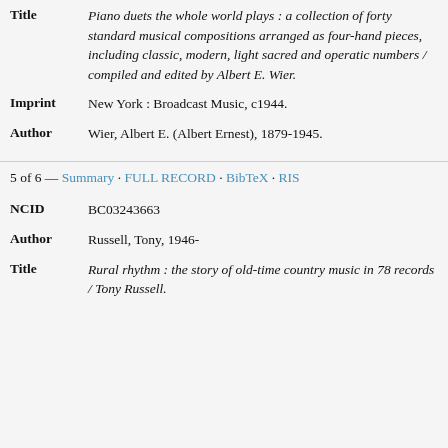| Field | Value |
| --- | --- |
| Title | Piano duets the whole world plays : a collection of forty standard musical compositions arranged as four-hand pieces, including classic, modern, light sacred and operatic numbers / compiled and edited by Albert E. Wier. |
| Imprint | New York : Broadcast Music, c1944. |
| Author | Wier, Albert E. (Albert Ernest), 1879-1945. |
5 of 6 — Summary · FULL RECORD · BibTeX · RIS
| Field | Value |
| --- | --- |
| NCID | BC03243663 |
| Author | Russell, Tony, 1946- |
| Title | Rural rhythm : the story of old-time country music in 78 records / Tony Russell. |